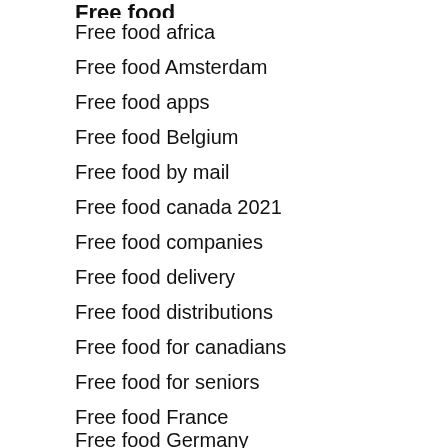Free food
Free food africa
Free food Amsterdam
Free food apps
Free food Belgium
Free food by mail
Free food canada 2021
Free food companies
Free food delivery
Free food distributions
Free food for canadians
Free food for seniors
Free food France
Free food Germany